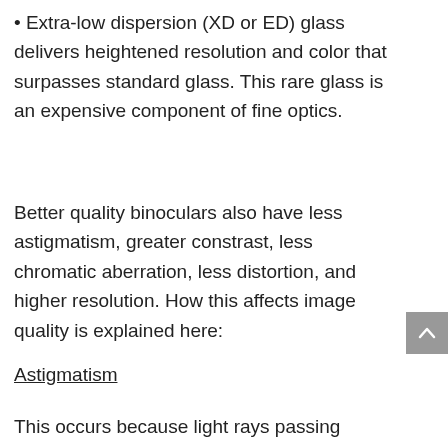Extra-low dispersion (XD or ED) glass delivers heightened resolution and color that surpasses standard glass. This rare glass is an expensive component of fine optics.
Better quality binoculars also have less astigmatism, greater constrast, less chromatic aberration, less distortion, and higher resolution. How this affects image quality is explained here:
Astigmatism
This occurs because light rays passing through the outside of the lens do not converge properly.